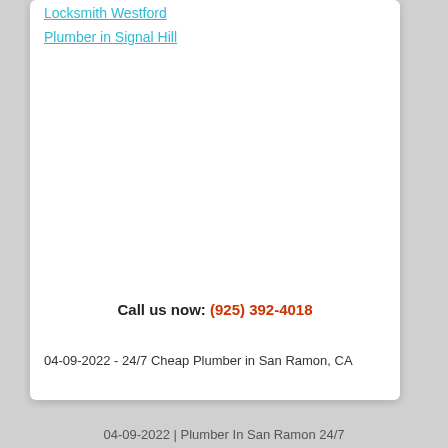Locksmith Westford
Plumber in Signal Hill
Call us now: (925) 392-4018
04-09-2022 - 24/7 Cheap Plumber in San Ramon, CA
04-09-2022 | Plumber In San Ramon 24/7